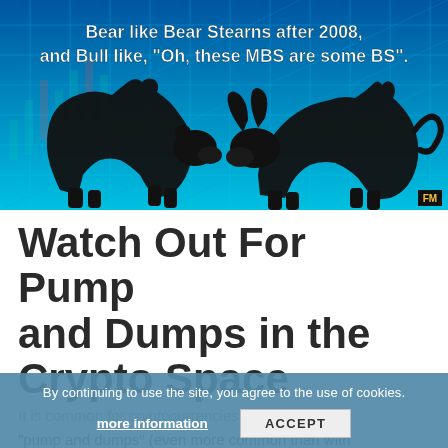[Figure (illustration): Blue financial chart background with silhouettes of a bear and bull facing each other. White bold text reads: 'Bear like Bear Stearns after 2008, and Bull like, "Oh, these MBS are some BS".'. FM logo badge in bottom right corner.]
Watch Out For Pump and Dumps in the Crypto Space
It is common for cryptocurrencies to fall victim to "pump and dumps" (even more common than with